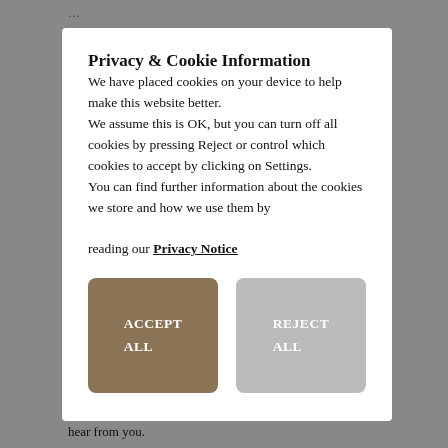…
Privacy & Cookie Information
We have placed cookies on your device to help make this website better. We assume this is OK, but you can turn off all cookies by pressing Reject or control which cookies to accept by clicking on Settings. You can find further information about the cookies we store and how we use them by reading our Privacy Notice
[Figure (other): Two buttons: ACCEPT ALL (brown) and REJECT ALL (grey)]
hear from you.